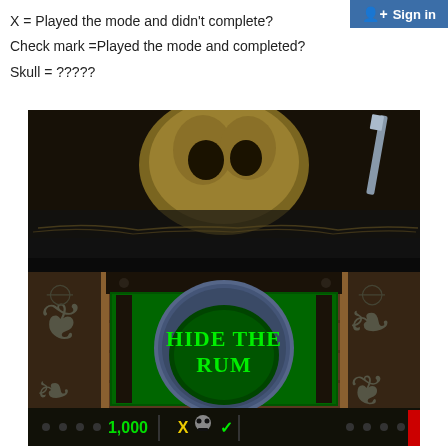Sign in
X = Played the mode and didn't complete?
Check mark =Played the mode and completed?
Skull = ?????
[Figure (screenshot): Two-part game screenshot: top half shows a dark scene with a skull/treasure image; bottom half shows a pirate-themed game interface with 'Hide the Rum' text on a green circular button, ornate scroll decorations on sides, and a score display showing 1,000 with X, skull, and checkmark icons.]